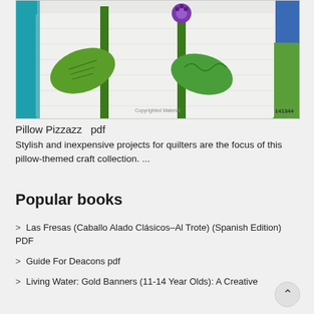[Figure (photo): A decorative quilted pillow with green leaf and flower appliqué design on white fabric, with teal and patterned pillows in the background. Watermark reads 'Copyrighted Material' and number '141344' in bottom right.]
Pillow Pizzazz   pdf
Stylish and inexpensive projects for quilters are the focus of this pillow-themed craft collection. ...
Popular books
> Las Fresas (Caballo Alado Clásicos–Al Trote) (Spanish Edition) PDF
> Guide For Deacons pdf
> Living Water: Gold Banners (11-14 Year Olds): A Creative